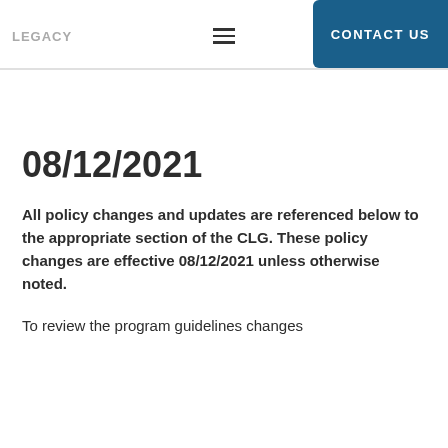LEGACY  ≡  CONTACT US
08/12/2021
All policy changes and updates are referenced below to the appropriate section of the CLG. These policy changes are effective 08/12/2021 unless otherwise noted.
To review the program guidelines changes